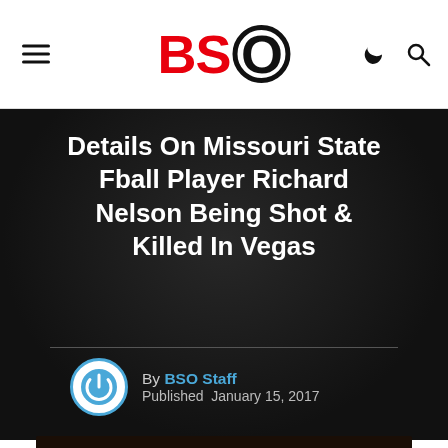BSO – Black Sports Online
Details On Missouri State Fball Player Richard Nelson Being Shot & Killed In Vegas
By BSO Staff
Published January 15, 2017
[Figure (photo): Photo of a man wearing glasses and a suit at a sports event with a purple banner in the background]